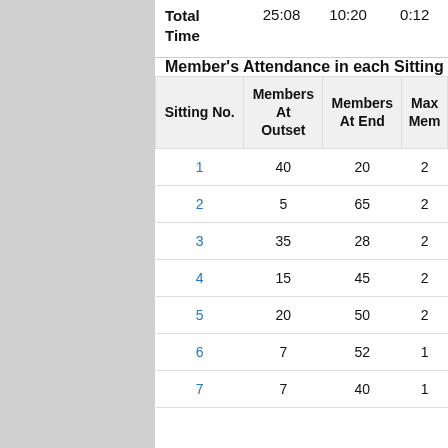| Total Time | 25:08 | 10:20 | 0:12 |
| --- | --- | --- | --- |
Member's Attendance in each Sitting
| Sitting No. | Members At Outset | Members At End | Max Mem... |
| --- | --- | --- | --- |
| 1 | 40 | 20 | 2 |
| 2 | 5 | 65 | 2 |
| 3 | 35 | 28 | 2 |
| 4 | 15 | 45 | 2 |
| 5 | 20 | 50 | 2 |
| 6 | 7 | 52 | 1 |
| 7 | 7 | 40 | 1 |